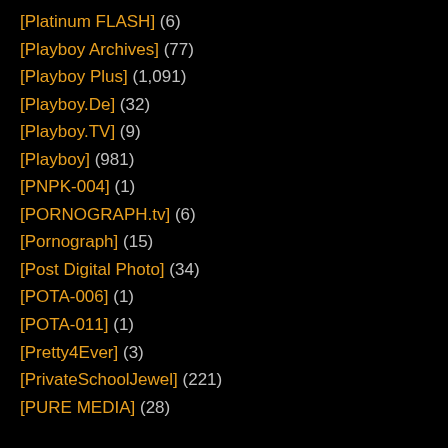[Platinum FLASH] (6)
[Playboy Archives] (77)
[Playboy Plus] (1,091)
[Playboy.De] (32)
[Playboy.TV] (9)
[Playboy] (981)
[PNPK-004] (1)
[PORNOGRAPH.tv] (6)
[Pornograph] (15)
[Post Digital Photo] (34)
[POTA-006] (1)
[POTA-011] (1)
[Pretty4Ever] (3)
[PrivateSchoolJewel] (221)
[PURE MEDIA] (28)